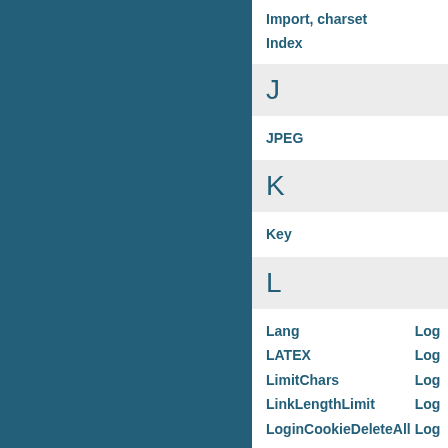Import, charset
Index
J
JPEG
K
Key
L
Lang
LATEX
LimitChars
LinkLengthLimit
LoginCookieDeleteAll
Log
Log
Log
Log
Log
Lor